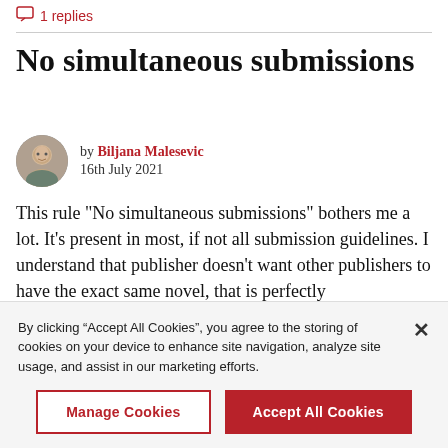1 replies
No simultaneous submissions
by Biljana Malesevic
16th July 2021
This rule "No simultaneous submissions" bothers me a lot. It's present in most, if not all submission guidelines. I understand that publisher doesn't want other publishers to have the exact same novel, that is perfectly understanding and valid point. Problem is, at least in my experience, most
By clicking “Accept All Cookies“, you agree to the storing of cookies on your device to enhance site navigation, analyze site usage, and assist in our marketing efforts.
Manage Cookies
Accept All Cookies